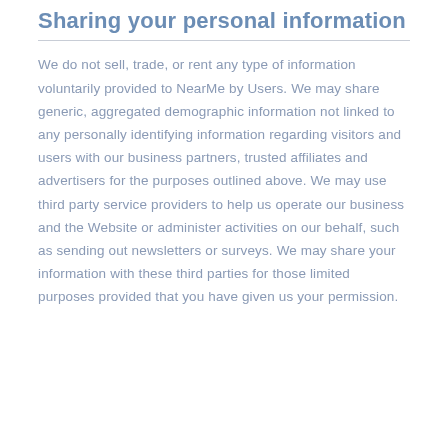Sharing your personal information
We do not sell, trade, or rent any type of information voluntarily provided to NearMe by Users. We may share generic, aggregated demographic information not linked to any personally identifying information regarding visitors and users with our business partners, trusted affiliates and advertisers for the purposes outlined above. We may use third party service providers to help us operate our business and the Website or administer activities on our behalf, such as sending out newsletters or surveys. We may share your information with these third parties for those limited purposes provided that you have given us your permission.